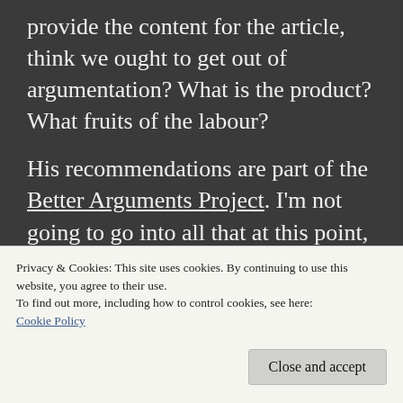provide the content for the article, think we ought to get out of argumentation? What is the product? What fruits of the labour?
His recommendations are part of the Better Arguments Project. I'm not going to go into all that at this point, but that project provides the context for the recommendations, which is the current US political environment inflamed by hostile exchanges on the internet. Much the same environment exists in other countries too.
Privacy & Cookies: This site uses cookies. By continuing to use this website, you agree to their use.
To find out more, including how to control cookies, see here:
Cookie Policy